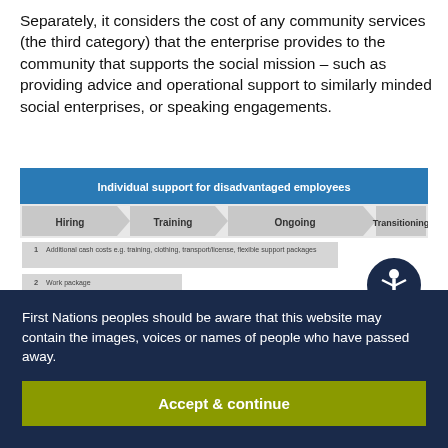Separately, it considers the cost of any community services (the third category) that the enterprise provides to the community that supports the social mission – such as providing advice and operational support to similarly minded social enterprises, or speaking engagements.
[Figure (infographic): Diagram titled 'Individual support for disadvantaged employees' showing four phases: Hiring, Training, Ongoing, Transitioning. Below are three numbered rows: 1. Additional cash costs e.g. training, clothing, transport/license, flexible support packages; 2. Work package definition/negotiation; 3. Management/staff time helping staff (additional on the job training, personal support). A circular accessibility icon appears in the bottom-right. A fourth row is partially visible.]
First Nations peoples should be aware that this website may contain the images, voices or names of people who have passed away.
Accept & continue